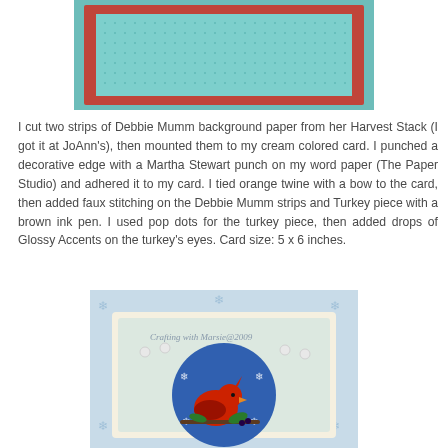[Figure (photo): Top portion of a handmade card showing a teal/mint background with a red-bordered panel, partially visible at the top of the page.]
I cut two strips of Debbie Mumm background paper from her Harvest Stack (I got it at JoAnn's), then mounted them to my cream colored card. I punched a decorative edge with a Martha Stewart punch on my word paper (The Paper Studio) and adhered it to my card. I tied orange twine with a bow to the card, then added faux stitching on the Debbie Mumm strips and Turkey piece with a brown ink pen. I used pop dots for the turkey piece, then added drops of Glossy Accents on the turkey's eyes. Card size: 5 x 6 inches.
[Figure (photo): A handmade winter/Christmas card featuring a red cardinal bird on a blue circular background, surrounded by a scalloped cream border with pearl accents, and a light blue background decorated with snowflakes. Text at top reads 'Crafting with Marsie@2009'.]